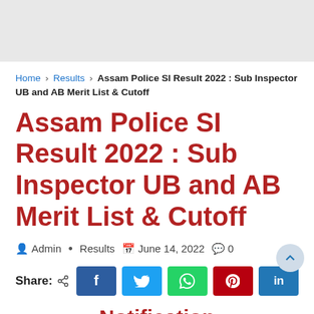Home › Results › Assam Police SI Result 2022 : Sub Inspector UB and AB Merit List & Cutoff
Assam Police SI Result 2022 : Sub Inspector UB and AB Merit List & Cutoff
Admin • Results  June 14, 2022  0
Share:  f  y  ©  ®  in
Notification